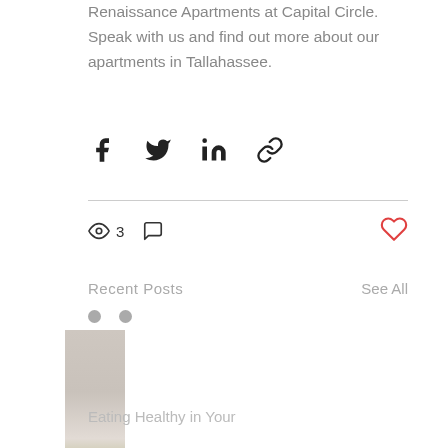Renaissance Apartments at Capital Circle. Speak with us and find out more about our apartments in Tallahassee.
[Figure (infographic): Row of social sharing icons: Facebook, Twitter, LinkedIn, and a link/chain icon]
[Figure (infographic): Stats row with eye icon showing 3 views, comment bubble icon with no count, and a red heart/like button on the right]
Recent Posts
See All
[Figure (photo): Partial thumbnail image of a blog post card showing a soft-toned lifestyle photo]
Eating Healthy in Your